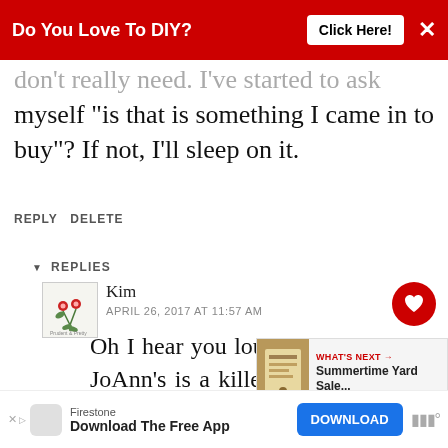[Figure (screenshot): Red advertising banner at top: 'Do You Love To DIY? Click Here!' with X close button]
don't really need. I've started to ask myself "is that is something I came in to buy"? If not, I'll sleep on it.
REPLY DELETE
▾ REPLIES
[Figure (illustration): Small floral avatar icon for user Kim]
Kim
APRIL 26, 2017 AT 11:57 AM
Oh I hear you loud and clear, Pam. JoAnn's is a killer. I definitely le... cart at the door in tha... ;) I clearly have no
[Figure (screenshot): What's Next overlay: Summertime Yard Sale...]
[Figure (screenshot): Bottom ad banner: Firestone - Download The Free App - DOWNLOAD button]